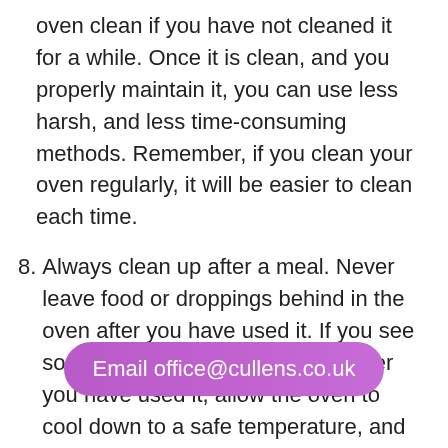oven clean if you have not cleaned it for a while. Once it is clean, and you properly maintain it, you can use less harsh, and less time-consuming methods. Remember, if you clean your oven regularly, it will be easier to clean each time.
8. Always clean up after a meal. Never leave food or droppings behind in the oven after you have used it. If you see some food or mess in the oven after you have used it, allow the oven to cool down to a safe temperature, and then get to work! Cleaning as you go might sound basic, but it is often not done, especially when it comes to ovens. We get sidetracked by the work in the kitchen that we can see in front of us, and often times forget about how we left the inside of the oven looking. With just a quick wipe, you could save yourself hours of work in the future.
Email office@cullens.co.uk